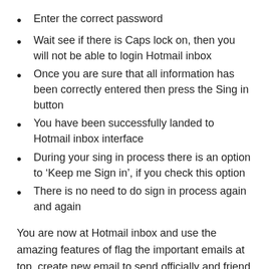Enter the correct password
Wait see if there is Caps lock on, then you will not be able to login Hotmail inbox
Once you are sure that all information has been correctly entered then press the Sing in button
You have been successfully landed to Hotmail inbox interface
During your sing in process there is an option to ‘Keep me Sign in’, if you check this option
There is no need to do sign in process again and again
You are now at Hotmail inbox and use the amazing features of flag the important emails at top, create new email to send officially and friend & families.
You can create folders and give them name in Hotmail